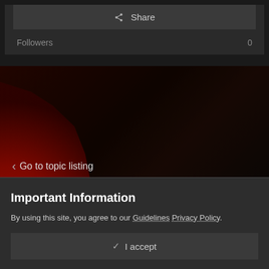Share
Followers  0
Go to topic listing
[Figure (screenshot): Social media share buttons area with Facebook and Twitter icons on a dark reddish background with Japanese umbrella/fan imagery]
THEME ▾   PRIVACY POLICY   CONTACT US
COPYRIGHT © 2003-2022
UNITYHO.NET/NOLEGIRL.NET/NOLEREVIVAL.COM – ALL RIGHTS
Important Information
By using this site, you agree to our Guidelines Privacy Policy.
✓  I accept